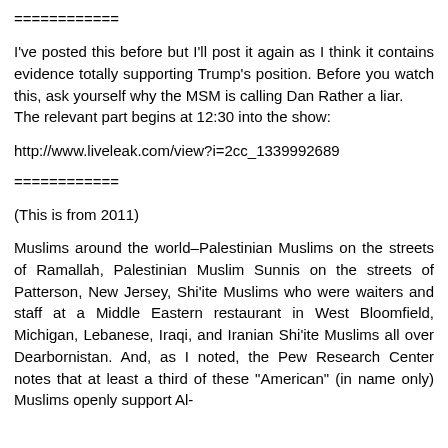============
I've posted this before but I'll post it again as I think it contains evidence totally supporting Trump's position. Before you watch this, ask yourself why the MSM is calling Dan Rather a liar.
The relevant part begins at 12:30 into the show:
http://www.liveleak.com/view?i=2cc_1339992689
============
(This is from 2011)
Muslims around the world–Palestinian Muslims on the streets of Ramallah, Palestinian Muslim Sunnis on the streets of Patterson, New Jersey, Shi'ite Muslims who were waiters and staff at a Middle Eastern restaurant in West Bloomfield, Michigan, Lebanese, Iraqi, and Iranian Shi'ite Muslims all over Dearbornistan. And, as I noted, the Pew Research Center notes that at least a third of these "American" (in name only) Muslims openly support Al-